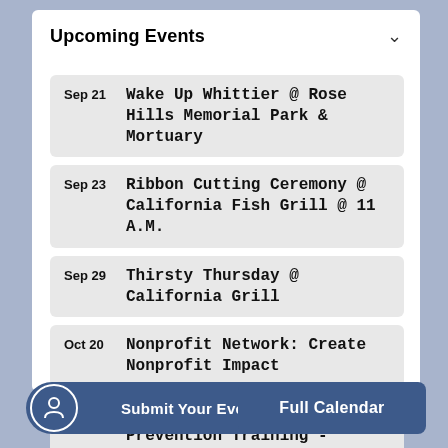Upcoming Events
Sep 21 Wake Up Whittier @ Rose Hills Memorial Park & Mortuary
Sep 23 Ribbon Cutting Ceremony @ California Fish Grill @ 11 A.M.
Sep 29 Thirsty Thursday @ California Grill
Oct 20 Nonprofit Network: Create Nonprofit Impact
Nov 10 Sexual Harassment Prevention Training -
Community Calendar
Submit Your Event
Full Calendar